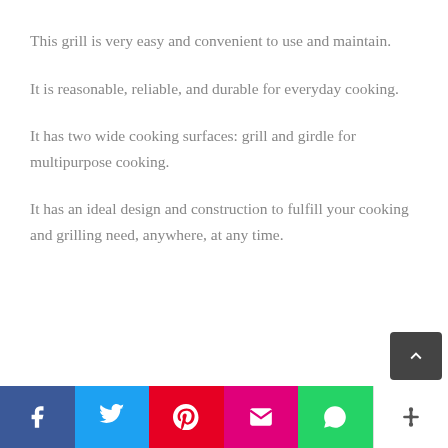This grill is very easy and convenient to use and maintain.
It is reasonable, reliable, and durable for everyday cooking.
It has two wide cooking surfaces: grill and girdle for multipurpose cooking.
It has an ideal design and construction to fulfill your cooking and grilling need, anywhere, at any time.
Social share bar: Facebook, Twitter, Pinterest, Email, WhatsApp, More